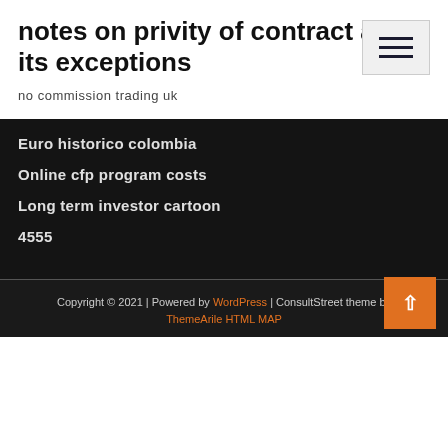notes on privity of contract and its exceptions
no commission trading uk
Euro historico colombia
Online cfp program costs
Long term investor cartoon
4555
Copyright © 2021 | Powered by WordPress | ConsultStreet theme by ThemeArile HTML MAP